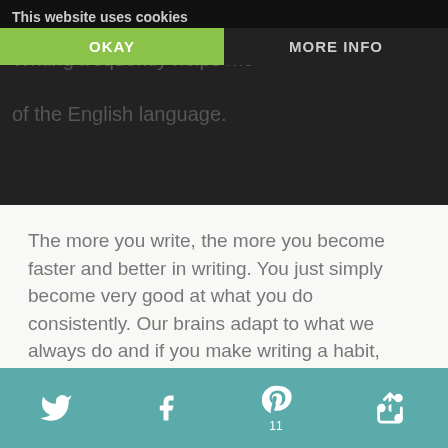This website uses cookies | OKAY | MORE INFO
The more you write, the more you become faster and better in writing. You just simply become very good at what you do consistently. Our brains adapt to what we always do and if you make writing a habit, then your brain will just simply become very good at it.
You Become a More Effective Writer
Social share icons: Twitter, Facebook, Pinterest (11), More